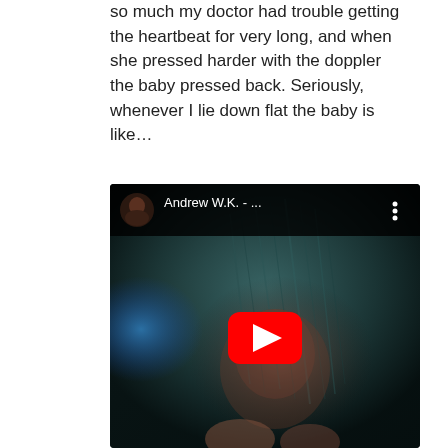so much my doctor had trouble getting the heartbeat for very long, and when she pressed harder with the doppler the baby pressed back. Seriously, whenever I lie down flat the baby is like...
[Figure (screenshot): YouTube video embed showing Andrew W.K. video thumbnail. Dark image of a person with long wet hair, face partially visible. Red YouTube play button in center. Top bar shows channel avatar and title 'Andrew W.K. - ...' with three-dot menu.]